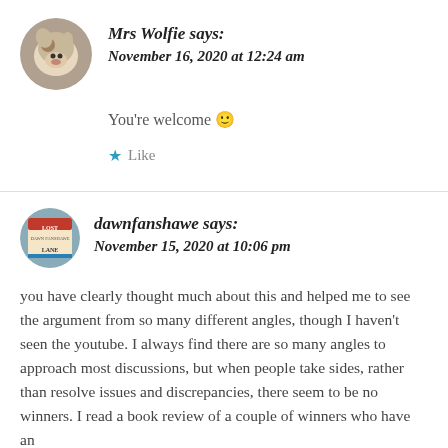[Figure (photo): Circular avatar of a dog (Jack Russell terrier), positioned top-left of first comment]
Mrs Wolfie says:
November 16, 2020 at 12:24 am
You're welcome 🙂
★ Like
[Figure (photo): Circular avatar showing a book cover for 'Lost Lane' by dawnfanshawe]
dawnfanshawe says:
November 15, 2020 at 10:06 pm
you have clearly thought much about this and helped me to see the argument from so many different angles, though I haven't seen the youtube. I always find there are so many angles to approach most discussions, but when people take sides, rather than resolve issues and discrepancies, there seem to be no winners. I read a book review of a couple of winners who have an